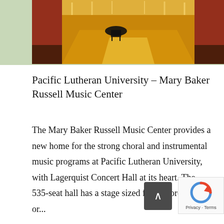[Figure (photo): Interior of a concert hall with a grand piano on stage, warm golden lighting, rows of seats visible, ornate ceiling and stage surround]
Pacific Lutheran University – Mary Baker Russell Music Center
The Mary Baker Russell Music Center provides a new home for the strong choral and instrumental music programs at Pacific Lutheran University, with Lagerquist Concert Hall at its heart. The 535-seat hall has a stage sized for full orchestra or...